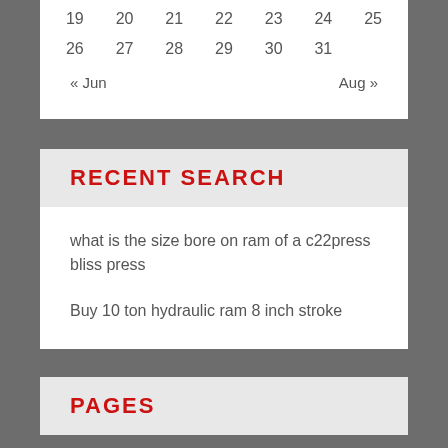| 19 | 20 | 21 | 22 | 23 | 24 | 25 |
| 26 | 27 | 28 | 29 | 30 | 31 |  |
« Jun    Aug »
RECENT SEARCH
what is the size bore on ram of a c22press bliss press
Buy 10 ton hydraulic ram 8 inch stroke
PAGES